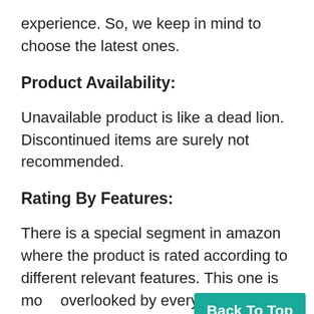experience. So, we keep in mind to choose the latest ones.
Product Availability:
Unavailable product is like a dead lion. Discontinued items are surely not recommended.
Rating By Features:
There is a special segment in amazon where the product is rated according to different relevant features. This one is mo[re] overlooked by everyone. But we keep a keen
Back To Top